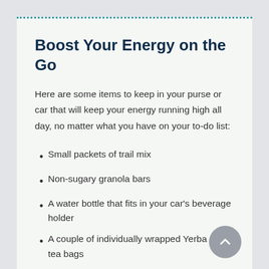Boost Your Energy on the Go
Here are some items to keep in your purse or car that will keep your energy running high all day, no matter what you have on your to-do list:
Small packets of trail mix
Non-sugary granola bars
A water bottle that fits in your car's beverage holder
A couple of individually wrapped Yerba Maté tea bags